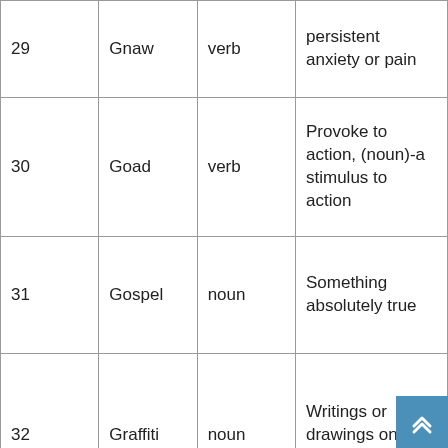| # | Word | Part of Speech | Definition |
| --- | --- | --- | --- |
| 29 | Gnaw | verb | persistent anxiety or pain |
| 30 | Goad | verb | Provoke to action, (noun)-a stimulus to action |
| 31 | Gospel | noun | Something absolutely true |
| 32 | Graffiti | noun | Writings or drawings on a surface in... |